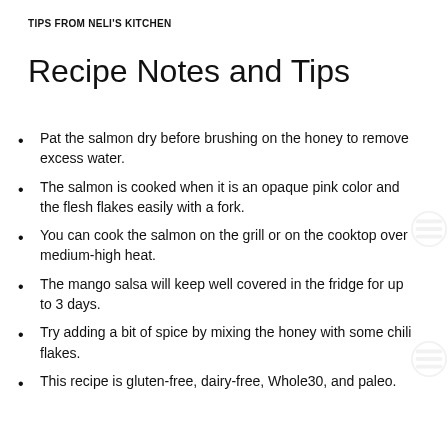TIPS FROM NELI'S KITCHEN
Recipe Notes and Tips
Pat the salmon dry before brushing on the honey to remove excess water.
The salmon is cooked when it is an opaque pink color and the flesh flakes easily with a fork.
You can cook the salmon on the grill or on the cooktop over medium-high heat.
The mango salsa will keep well covered in the fridge for up to 3 days.
Try adding a bit of spice by mixing the honey with some chili flakes.
This recipe is gluten-free, dairy-free, Whole30, and paleo.